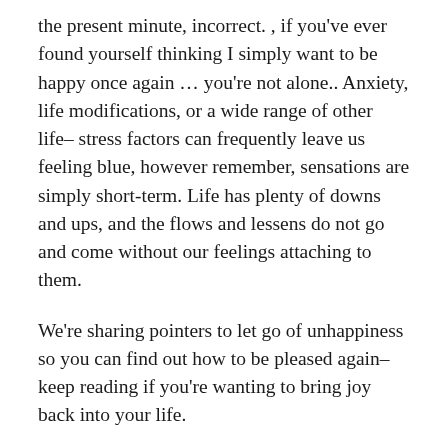the present minute, incorrect. , if you've ever found yourself thinking I simply want to be happy once again … you're not alone.. Anxiety, life modifications, or a wide range of other life– stress factors can frequently leave us feeling blue, however remember, sensations are simply short-term. Life has plenty of downs and ups, and the flows and lessens do not go and come without our feelings attaching to them.
We're sharing pointers to let go of unhappiness so you can find out how to be pleased again– keep reading if you're wanting to bring joy back into your life.
advertisements Betterhelp Online